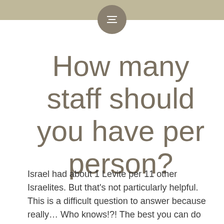How many staff should you have per person?
Israel had about 1 Levite per 11 other Israelites. But that’s not particularly helpful.
This is a difficult question to answer because really… Who knows!?! The best you can do is have what you think is an appropriate ratio. But